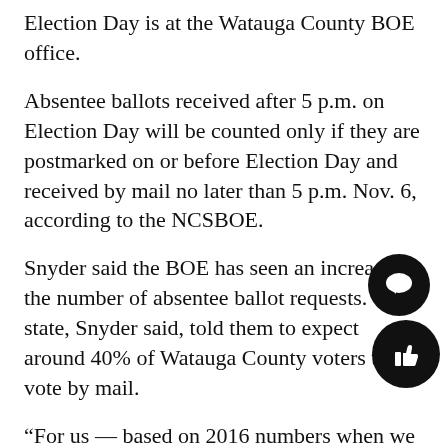Election Day is at the Watauga County BOE office.
Absentee ballots received after 5 p.m. on Election Day will be counted only if they are postmarked on or before Election Day and received by mail no later than 5 p.m. Nov. 6, according to the NCSBOE.
Snyder said the BOE has seen an increase in the number of absentee ballot requests. The state, Snyder said, told them to expect around 40% of Watauga County voters to vote by mail.
“For us — based on 2016 numbers when we had about 30,000 people vote — that means we should expect 10 to 12,000 people to vote by mail,” Snyder said.
Snyder said they expect to pick up between 50-100 absentee ballot requests in the mail on a daily basis.
The BOE has had 1,244 absentee ballots requests as of mail pickup on Aug. 14 — which is the same number of people voted absentee by mail in 2016.